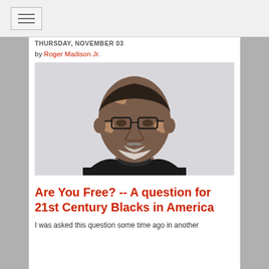Navigation bar with hamburger menu
THURSDAY, NOVEMBER 03
by Roger Madison Jr.
[Figure (photo): Headshot portrait of Roger Madison Jr., a man with vitiligo visible on his face and forehead, wearing glasses and a dark turtleneck, against a light gray background.]
Are You Free? -- A question for 21st Century Blacks in America
I was asked this question some time ago in another